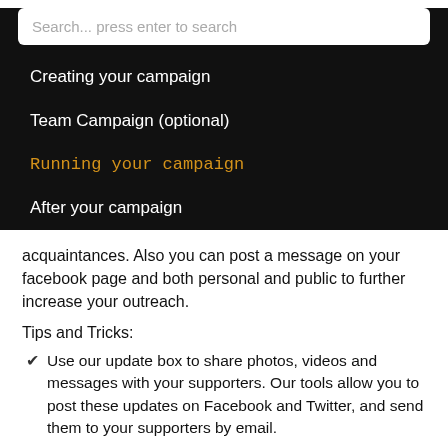[Figure (screenshot): Search bar with placeholder text 'Search... press enter to search' on dark background]
Creating your campaign
Team Campaign (optional)
Running your campaign
After your campaign
acquaintances. Also you can post a message on your facebook page and both personal and public to further increase your outreach.
Tips and Tricks:
Use our update box to share photos, videos and messages with your supporters. Our tools allow you to post these updates on Facebook and Twitter, and send them to your supporters by email.
Post frequently (at least every 5 days) about your your